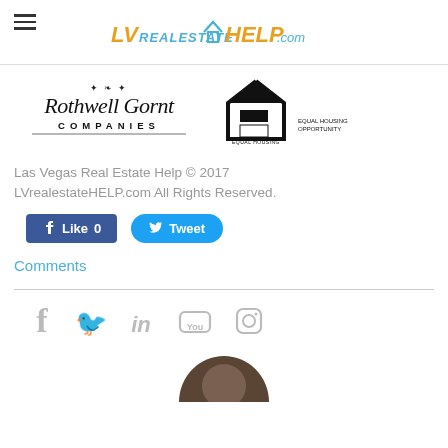LVrealestateHELP.com
[Figure (logo): Rothwell Gornt Companies logo and Equal Housing Opportunity logo]
Las Vegas Real Estate Help © 2017 LVrealestateHELP.com All Rights Reserved.
[Figure (screenshot): Like 0 button (Facebook) and Tweet button (Twitter)]
Comments
[Figure (infographic): Social media icons: Facebook, Twitter, LinkedIn, YouTube, Instagram]
[Figure (photo): Partial circular avatar photo of a person]